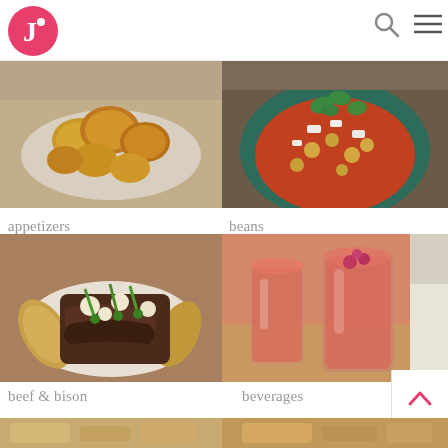[Figure (logo): Pink circular logo with white letter J and dot]
[Figure (illustration): Search icon (magnifying glass) and hamburger menu icon in top right]
[Figure (photo): Fried cauliflower or similar battered food on a white plate]
[Figure (photo): Bowl with chickpeas, feta cheese, cilantro in a green bowl]
appetizers
beans
[Figure (photo): Beef and potato dish with green onions and melted cheese on a white plate]
[Figure (photo): Two glasses of pink/red berry smoothie drinks with a wine bottle in background]
beef & bison
beverages
[Figure (photo): Partial view of food items at bottom of page, partially cut off]